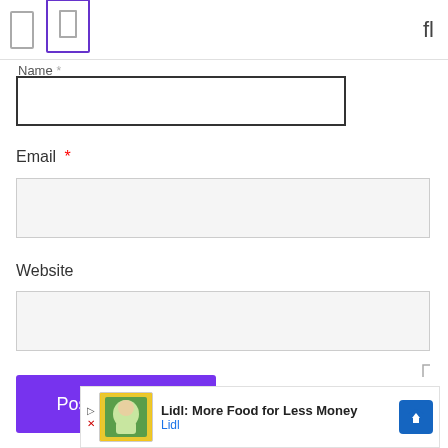Name *
Email *
Website
Post Comment
[Figure (screenshot): Advertisement banner: Lidl: More Food for Less Money, Lidl]